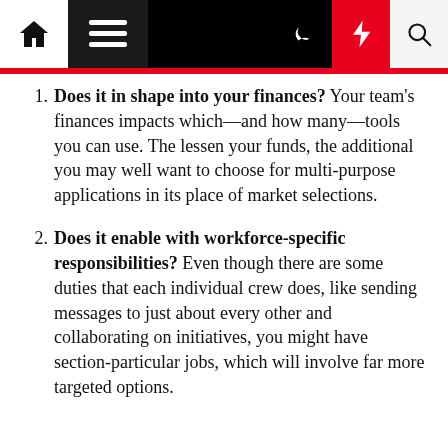Navigation bar with home, menu, dark mode, lightning, and search icons
Does it in shape into your finances? Your team's finances impacts which—and how many—tools you can use. The lessen your funds, the additional you may well want to choose for multi-purpose applications in its place of market selections.
Does it enable with workforce-specific responsibilities? Even though there are some duties that each individual crew does, like sending messages to just about every other and collaborating on initiatives, you might have section-particular jobs, which will involve far more targeted options.